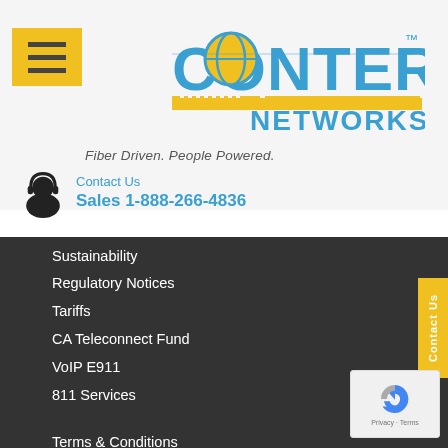[Figure (logo): Conterra Networks logo with tagline Fiber Driven. People Powered.]
Contact Us
Sales 1-888-266-4836
Sustainability
Regulatory Notices
Tariffs
CA Teleconnect Fund
VoIP E911
811 Services
Terms & Conditions
Internet Disclosure
Privacy Policy
Acceptable Use Policy
[Figure (other): reCAPTCHA badge with Privacy - Terms text]